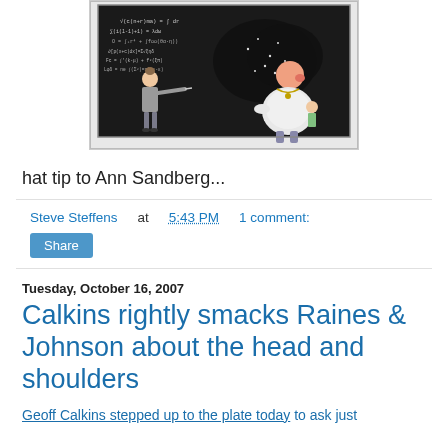[Figure (illustration): A cartoon/editorial illustration showing a chalkboard with math equations. On the left side stands a woman in professional attire pointing at equations. On the right side stands a large rotund man in casual clothes. The chalkboard is dark/black with white chalk writing showing various mathematical formulas.]
hat tip to Ann Sandberg...
Steve Steffens at 5:43 PM   1 comment:
Share
Tuesday, October 16, 2007
Calkins rightly smacks Raines & Johnson about the head and shoulders
Geoff Calkins stepped up to the plate today to ask just